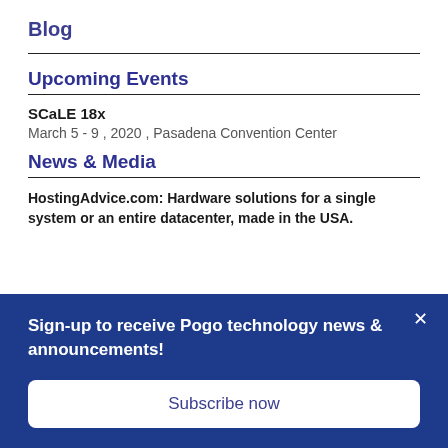Blog
Upcoming Events
SCaLE 18x
March 5 - 9 , 2020 , Pasadena Convention Center
News & Media
HostingAdvice.com: Hardware solutions for a single system or an entire datacenter, made in the USA.
Sign-up to receive Pogo technology news & announcements!
Subscribe now